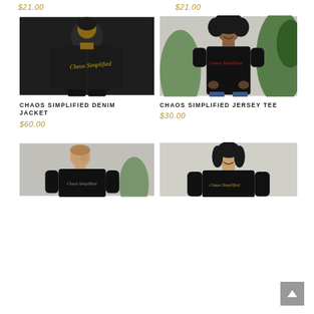$21.00
$21.00
[Figure (photo): Man wearing black denim jacket with yellow script logo on back, viewed from behind]
[Figure (photo): Woman wearing black jersey tee with red script logo, standing near plants]
CHAOS SIMPLIFIED DENIM JACKET
$60.00
CHAOS SIMPLIFIED JERSEY TEE
$30.00
[Figure (photo): Man wearing black sweatshirt with Chaos Simplified logo, partial view]
[Figure (photo): Woman wearing black long sleeve shirt with Chaos Simplified logo, partial view]